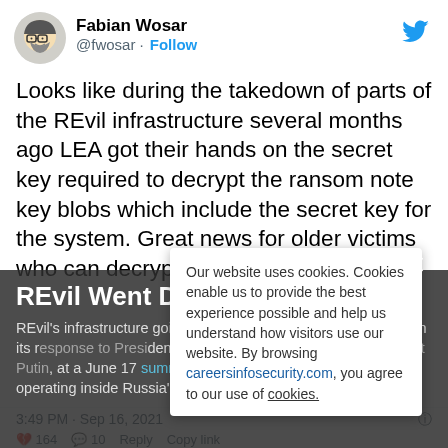[Figure (screenshot): Twitter/X profile avatar for Fabian Wosar (@fwosar) — cartoon-style avatar with glasses]
Fabian Wosar
@fwosar · Follow
Looks like during the takedown of parts of the REvil infrastructure several months ago LEA got their hands on the secret key required to decrypt the ransom note key blobs which include the secret key for the system. Great news for older victims who can decrypt their files now. :)
3:49 PM · Sep 16, 2021
164   10   Reply   Copy link
REvil Went Dark In July
REvil's infrastructure going dark in July could instead have been its response to President Joe Biden pressing Russian President Putin, at a June 17 summit in Geneva, to arrest criminals operating inside Russia's borders, who were launching ransomware attacks on critical
Our website uses cookies. Cookies enable us to provide the best experience possible and help us understand how visitors use our website. By browsing careersinfosecurity.com, you agree to our use of cookies.